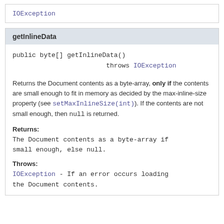IOException
getInlineData
public byte[] getInlineData()
                        throws IOException
Returns the Document contents as a byte-array, only if the contents are small enough to fit in memory as decided by the max-inline-size property (see setMaxInlineSize(int)). If the contents are not small enough, then null is returned.
Returns:
The Document contents as a byte-array if small enough, else null.
Throws:
IOException - If an error occurs loading the Document contents.